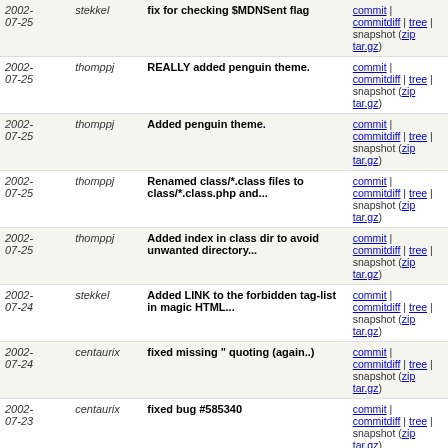| Date | Author | Message | Links |
| --- | --- | --- | --- |
| 2002-07-25 | stekkel | fix for checking $MDNSent flag | commit | commitdiff | tree | snapshot (zip tar.gz) |
| 2002-07-25 | thomppj | REALLY added penguin theme. | commit | commitdiff | tree | snapshot (zip tar.gz) |
| 2002-07-25 | thomppj | Added penguin theme. | commit | commitdiff | tree | snapshot (zip tar.gz) |
| 2002-07-25 | thomppj | Renamed class/*.class files to class/*.class.php and... | commit | commitdiff | tree | snapshot (zip tar.gz) |
| 2002-07-25 | thomppj | Added index in class dir to avoid unwanted directory... | commit | commitdiff | tree | snapshot (zip tar.gz) |
| 2002-07-24 | stekkel | Added LINK to the forbidden tag-list in magic HTML... | commit | commitdiff | tree | snapshot (zip tar.gz) |
| 2002-07-24 | centaurix | fixed missing " quoting (again..) | commit | commitdiff | tree | snapshot (zip tar.gz) |
| 2002-07-23 | centaurix | fixed bug #585340 | commit | commitdiff | tree | snapshot (zip tar.gz) |
| 2002-07-22 | stekkel | fix for language argument and add language class. | commit | commitdiff | tree | snapshot (zip tar.gz) |
| 2002-07-22 | stekkel | fix + make use of more modular mailbox_display | commit | commitdiff | tree | snapshot (zip tar.gz) |
| 2002- | stekkel | more modulair source and some | commit | |